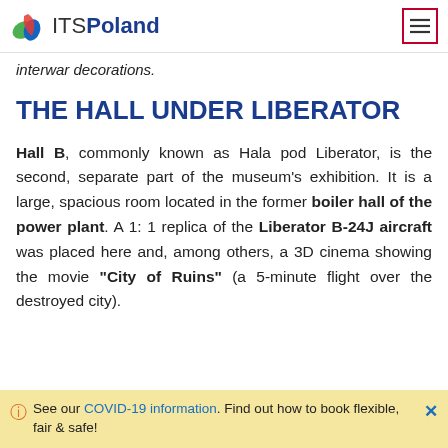ITSPoland [logo] [hamburger menu button]
interwar decorations.
THE HALL UNDER LIBERATOR
Hall B, commonly known as Hala pod Liberator, is the second, separate part of the museum's exhibition. It is a large, spacious room located in the former boiler hall of the power plant. A 1: 1 replica of the Liberator B-24J aircraft was placed here and, among others, a 3D cinema showing the movie "City of Ruins" (a 5-minute flight over the destroyed city).
See our COVID-19 information. Find out how to book flexible, fair & safe!